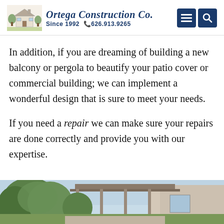Ortega Construction Co. Since 1992 626.913.9265
In addition, if you are dreaming of building a new balcony or pergola to beautify your patio cover or commercial building; we can implement a wonderful design that is sure to meet your needs.
If you need a repair we can make sure your repairs are done correctly and provide you with our expertise.
[Figure (photo): Exterior photo of a building with pergola/patio cover and trees visible in the foreground against a light sky background]